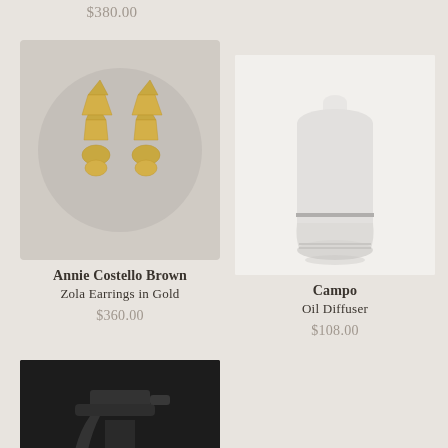$380.00
[Figure (photo): Gold geometric layered earrings (Zola Earrings in Gold) displayed on a circular grey background on a beige card]
Annie Costello Brown
Zola Earrings in Gold
$360.00
[Figure (photo): White ceramic oil diffuser on white background]
Campo
Oil Diffuser
$108.00
[Figure (photo): Black spray bottle trigger top, partially visible at bottom of page]